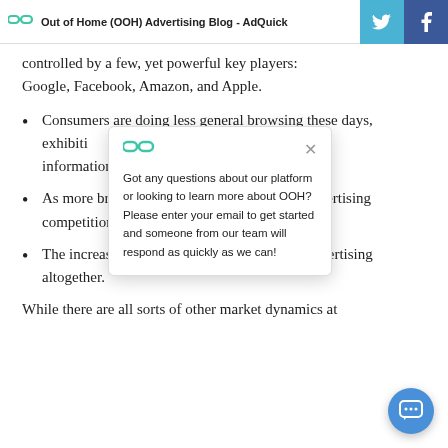Out of Home (OOH) Advertising Blog - AdQuick
controlled by a few, yet powerful key players: Google, Facebook, Amazon, and Apple.
Consumers are doing less general browsing these days, exhibiting more transactional behavior, searching for specific information on the…
As more brands and… digital advertising… competition for ava…
The increased insta… blockers to limit advertising altogether.
[Figure (screenshot): Chat popup with AdQuick logo, close button, and message: Got any questions about our platform or looking to learn more about OOH? Please enter your email to get started and someone from our team will respond as quickly as we can!]
While there are all sorts of other market dynamics at